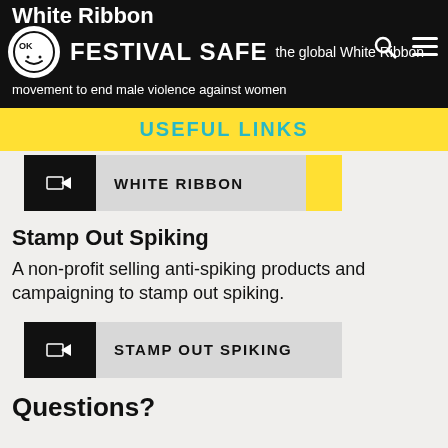White Ribbon | Festival Safe | the global White Ribbon movement to end male violence against women
USEFUL LINKS
[Figure (screenshot): White Ribbon link button with arrow icon and grey label box]
Stamp Out Spiking
A non-profit selling anti-spiking products and campaigning to stamp out spiking.
[Figure (screenshot): Stamp Out Spiking link button with arrow icon and grey label box]
Questions?